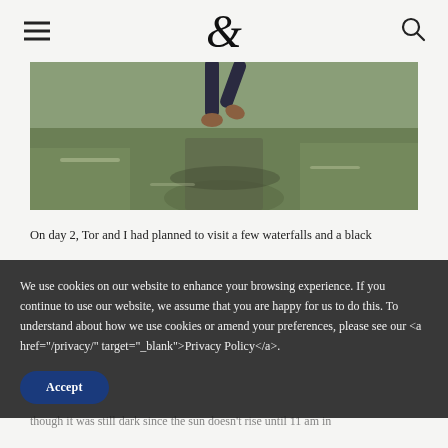Navigation header with hamburger menu, logo, and search icon
[Figure (photo): Person running/walking on a grassy field path, lower body visible, wearing dark pants and brown boots, outdoor nature scene]
On day 2, Tor and I had planned to visit a few waterfalls and a black sand beach not too far away, however, the weather ended up being quite different to what they had forecast and a super thick layer of
We use cookies on our website to enhance your browsing experience. If you continue to use our website, we assume that you are happy for us to do this. To understand about how we use cookies or amend your preferences, please see our <a href="/privacy/" target="_blank">Privacy Policy</a>.
weather forecast called for daytime snowstorms. So, with our super change of plans, we hopped in the car at 10 am (even though it was still dark since the sun doesn't rise until 11 am in